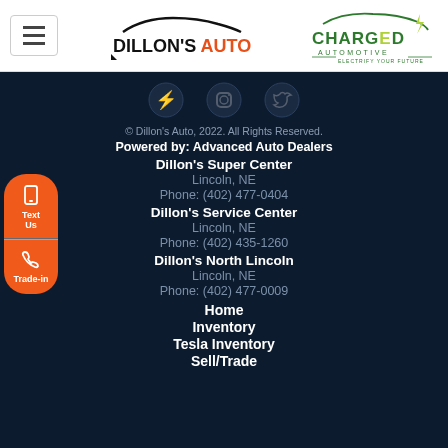[Figure (logo): Dillon's Auto logo with car silhouette]
[Figure (logo): Charged Automotive logo with green text]
[Figure (infographic): Social media icons: Facebook, Instagram, Twitter on dark background]
© Dillon's Auto, 2022. All Rights Reserved.
Powered by: Advanced Auto Dealers
Dillon's Super Center
Lincoln, NE
Phone: (402) 477-0404
Dillon's Service Center
Lincoln, NE
Phone: (402) 435-1260
Dillon's North Lincoln
Lincoln, NE
Phone: (402) 477-0009
Home
Inventory
Tesla Inventory
Sell/Trade